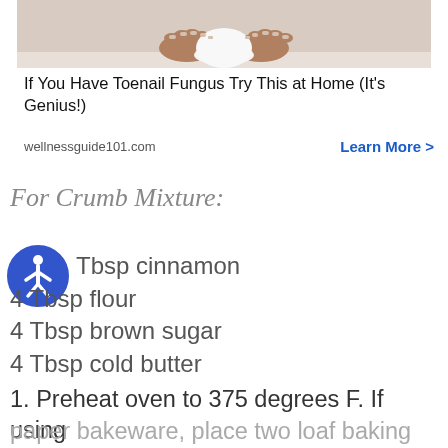[Figure (photo): Advertisement image showing feet near a white bowl on a light floor, for toenail fungus treatment]
If You Have Toenail Fungus Try This at Home (It's Genius!)
wellnessguide101.com   Learn More >
For Crumb Mixture:
Tbsp cinnamon
4 Tbsp flour
4 Tbsp brown sugar
4 Tbsp cold butter
1. Preheat oven to 375 degrees F. If using paper bakeware, place two loaf baking pans on a foil-lined baking sheet. If using